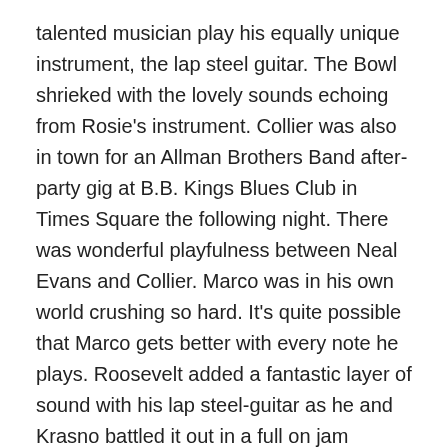talented musician play his equally unique instrument, the lap steel guitar. The Bowl shrieked with the lovely sounds echoing from Rosie's instrument. Collier was also in town for an Allman Brothers Band after-party gig at B.B. Kings Blues Club in Times Square the following night. There was wonderful playfulness between Neal Evans and Collier. Marco was in his own world crushing so hard. It's quite possible that Marco gets better with every note he plays. Roosevelt added a fantastic layer of sound with his lap steel-guitar as he and Krasno battled it out in a full on jam session for the ages. Pure hot-sauce.
Soulive added another piece of musical history to the Bowlive run when, with Roosevelt Collier and Marco Benevento's help, they jammed out their first ever Elton John tune in Bowlive history: “Benny and The Jets!” What